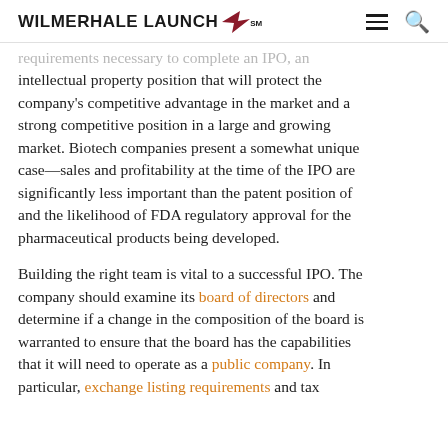WILMERHALE LAUNCH SM
requirements necessary to complete an IPO, an intellectual property position that will protect the company's competitive advantage in the market and a strong competitive position in a large and growing market. Biotech companies present a somewhat unique case—sales and profitability at the time of the IPO are significantly less important than the patent position of and the likelihood of FDA regulatory approval for the pharmaceutical products being developed.
Building the right team is vital to a successful IPO. The company should examine its board of directors and determine if a change in the composition of the board is warranted to ensure that the board has the capabilities that it will need to operate as a public company. In particular, exchange listing requirements and tax